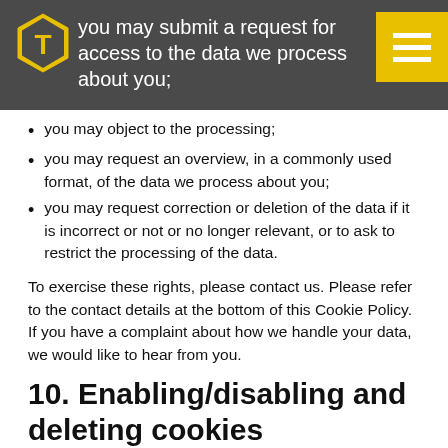you may submit a request for access to the data we process about you;
you may object to the processing;
you may request an overview, in a commonly used format, of the data we process about you;
you may request correction or deletion of the data if it is incorrect or not or no longer relevant, or to ask to restrict the processing of the data.
To exercise these rights, please contact us. Please refer to the contact details at the bottom of this Cookie Policy. If you have a complaint about how we handle your data, we would like to hear from you.
10. Enabling/disabling and deleting cookies
You can use your internet browser to automatically or manually delete cookies. You can also specify that certain cookies may